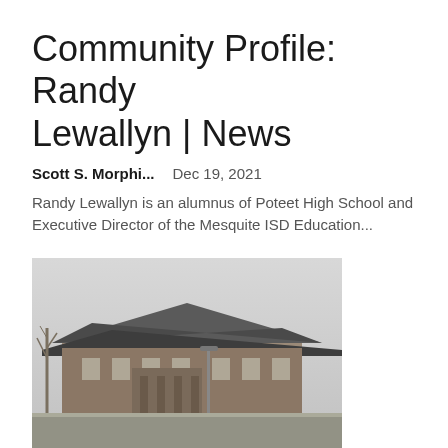Community Profile: Randy Lewallyn | News
Scott S. Morphi...    Dec 19, 2021
Randy Lewallyn is an alumnus of Poteet High School and Executive Director of the Mesquite ISD Education...
[Figure (photo): Exterior photo of a school or community building with a modern roof structure and brick facade, taken in winter with bare trees visible]
Elmwood Adds AP Calculus, Digital Photography Course | Community